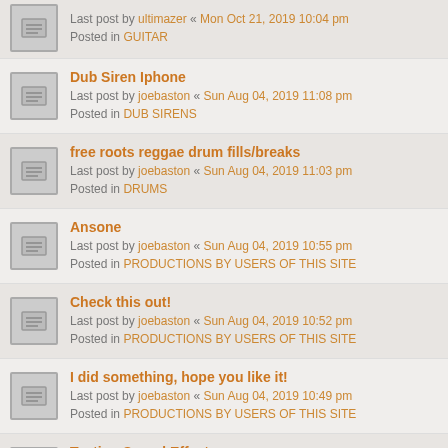Last post by ultimazer « Mon Oct 21, 2019 10:04 pm
Posted in GUITAR
Dub Siren Iphone
Last post by joebaston « Sun Aug 04, 2019 11:08 pm
Posted in DUB SIRENS
free roots reggae drum fills/breaks
Last post by joebaston « Sun Aug 04, 2019 11:03 pm
Posted in DRUMS
Ansone
Last post by joebaston « Sun Aug 04, 2019 10:55 pm
Posted in PRODUCTIONS BY USERS OF THIS SITE
Check this out!
Last post by joebaston « Sun Aug 04, 2019 10:52 pm
Posted in PRODUCTIONS BY USERS OF THIS SITE
I did something, hope you like it!
Last post by joebaston « Sun Aug 04, 2019 10:49 pm
Posted in PRODUCTIONS BY USERS OF THIS SITE
Testing Sound Effects
Last post by Artichoke Soundclash « Fri Mar 29, 2019 7:03 pm
Posted in OTHER EFFECTS
Are theses Chords shown correct?
Last post by Artichoke Soundclash « Fri Mar 29, 2019 6:38 pm
Posted in GUITAR